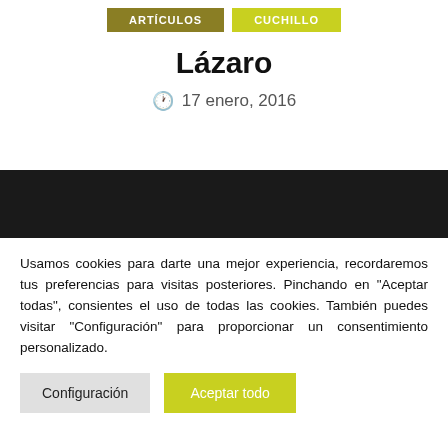ARTÍCULOS | CUCHILLO
Lázaro
17 enero, 2016
Usamos cookies para darte una mejor experiencia, recordaremos tus preferencias para visitas posteriores. Pinchando en "Aceptar todas", consientes el uso de todas las cookies. También puedes visitar "Configuración" para proporcionar un consentimiento personalizado.
Configuración | Aceptar todo